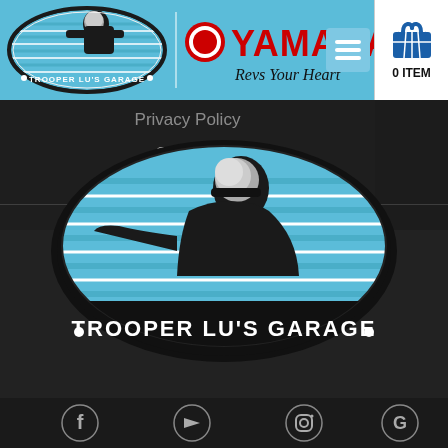[Figure (logo): Trooper Lu's Garage logo in header - oval shape with biker silhouette on blue striped background]
[Figure (logo): Yamaha logo with tuning fork icon and 'Revs Your Heart' slogan]
[Figure (screenshot): Hamburger menu button (three white lines on blue background)]
[Figure (infographic): Shopping cart icon with 0 ITEM label]
Privacy Policy
Contact
[Figure (logo): Large Trooper Lu's Garage center logo - oval with biker silhouette on blue striped background, white text 'TROOPER LU'S GARAGE']
[Figure (infographic): Social media icons row: Facebook, YouTube, Instagram, Google]